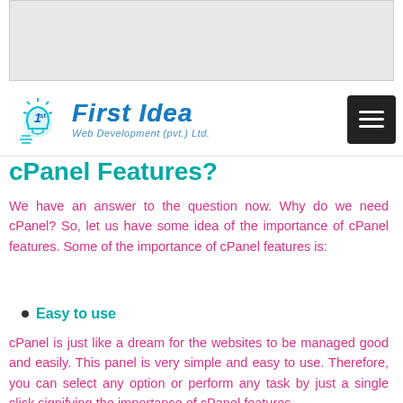[Figure (other): Gray placeholder box at top of page]
First Idea Web Development (pvt.) Ltd. — navigation bar with logo and hamburger menu
cPanel Features?
We have an answer to the question now. Why do we need cPanel? So, let us have some idea of the importance of cPanel features. Some of the importance of cPanel features is:
Easy to use
cPanel is just like a dream for the websites to be managed good and easily. This panel is very simple and easy to use. Therefore, you can select any option or perform any task by just a single click signifying the importance of cPanel features.